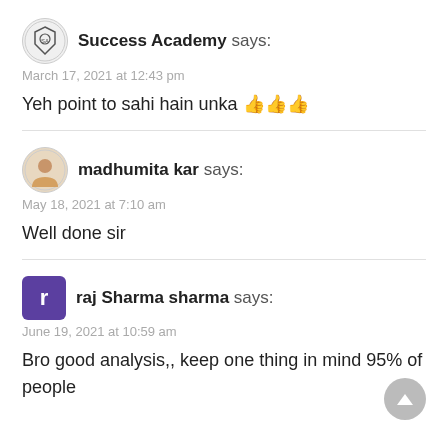Success Academy says:
March 17, 2021 at 12:43 pm
Yeh point to sahi hain unka 👍👍👍
madhumita kar says:
May 18, 2021 at 7:10 am
Well done sir
raj Sharma sharma says:
June 19, 2021 at 10:59 am
Bro good analysis,, keep one thing in mind 95% of people